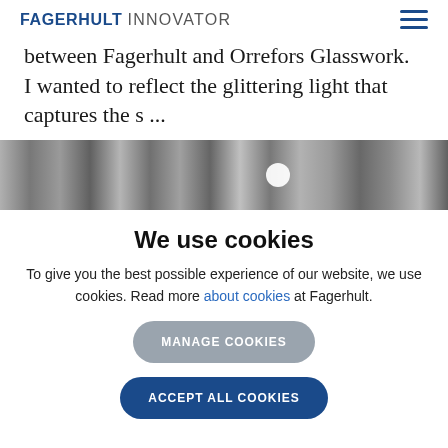FAGERHULT INNOVATOR
between Fagerhult and Orrefors Glasswork. I wanted to reflect the glittering light that captures the s ...
[Figure (photo): Black and white photo strip of snow-covered trees in winter, with a bright circular orb of light visible among the branches.]
We use cookies
To give you the best possible experience of our website, we use cookies. Read more about cookies at Fagerhult.
MANAGE COOKIES   ACCEPT ALL COOKIES